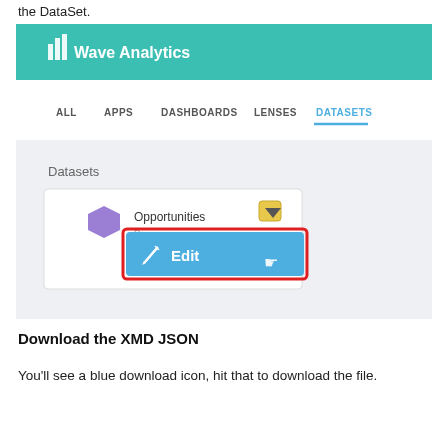the DataSet.
[Figure (screenshot): Wave Analytics UI screenshot showing the Datasets tab with an 'Opportunities' dataset card. A dropdown menu is open showing a blue 'Edit' button with a pencil icon and cursor hovering over it. The Edit button is highlighted with a red border.]
Download the XMD JSON
You'll see a blue download icon, hit that to download the file.